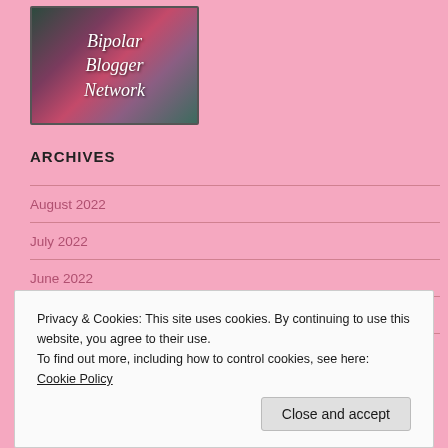[Figure (logo): Bipolar Blogger Network logo with dark colorful background and white italic text]
ARCHIVES
August 2022
July 2022
June 2022
May 2022
April 2022
Privacy & Cookies: This site uses cookies. By continuing to use this website, you agree to their use.
To find out more, including how to control cookies, see here: Cookie Policy
Close and accept